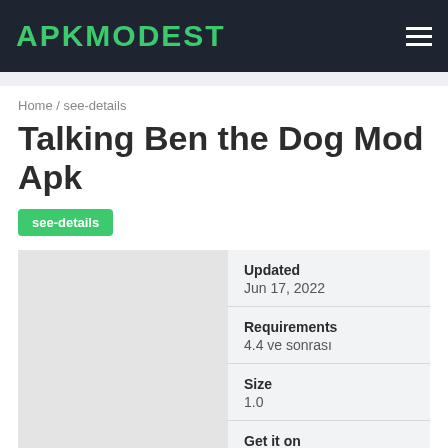APKMODEST
Home / see-details
Talking Ben the Dog Mod Apk
see-details
| Field | Value |
| --- | --- |
| Updated | Jun 17, 2022 |
| Requirements | 4.4 ve sonrası |
| Size | 1.0 |
| Get it on |  |